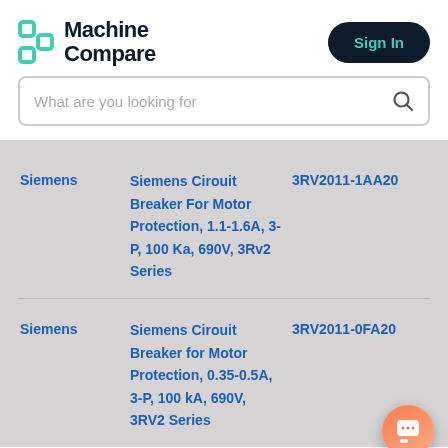[Figure (logo): Machine Compare logo with teal bracket icon and dark navy text]
Sign In
What are you looking for
Siemens
Siemens Circuit Breaker For Motor Protection, 1.1-1.6A, 3-P, 100 Ka, 690V, 3Rv2 Series
3RV2011-1AA20
Siemens
Siemens Circuit Breaker for Motor Protection, 0.35-0.5A, 3-P, 100 kA, 690V, 3RV2 Series
3RV2011-0FA20